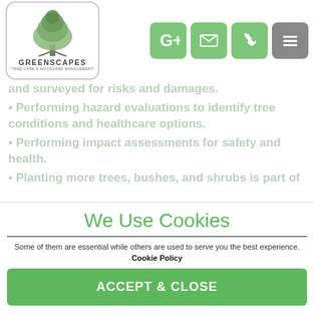[Figure (logo): Greenscapes Tree Care & Woodland Management logo — a tree illustration inside a rounded rectangle, with GREENSCAPES text below]
[Figure (infographic): Navigation bar icons: Google+, envelope, phone (green buttons), and hamburger menu (gray button)]
The Tree Surgeon Isle of Wight has a highly professional job on their hands, as they are responsible for a variety of tasks, including:
• Trees and outlying neighborhoods are inspected and surveyed for risks and damages.
• Performing hazard evaluations to identify tree conditions and healthcare options.
• Performing impact assessments for safety and health.
• Planting more trees, bushes, and shrubs is part of
We Use Cookies
Some of them are essential while others are used to serve you the best experience. Cookie Policy
ACCEPT & CLOSE